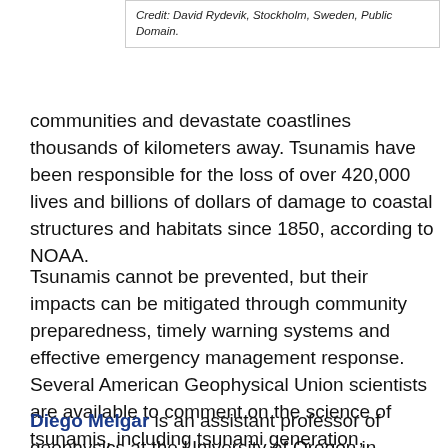Credit: David Rydevik, Stockholm, Sweden, Public Domain.
communities and devastate coastlines thousands of kilometers away. Tsunamis have been responsible for the loss of over 420,000 lives and billions of dollars of damage to coastal structures and habitats since 1850, according to NOAA.
Tsunamis cannot be prevented, but their impacts can be mitigated through community preparedness, timely warning systems and effective emergency management response. Several American Geophysical Union scientists are available to comment on the science of tsunamis, including tsunami generation, hazards, forecasting, warning systems and preparedness.
Diego Melgar is an assistant professor of geophysics at the University of Oregon in Eugene, Oregon. His research